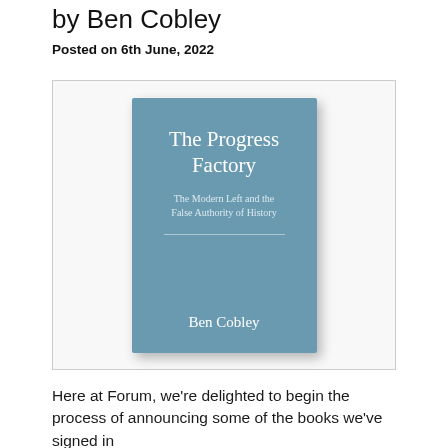by Ben Cobley
Posted on 6th June, 2022
[Figure (photo): Book cover of 'The Progress Factory: The Modern Left and the False Authority of History' by Ben Cobley. Blue cover with white text.]
Here at Forum, we're delighted to begin the process of announcing some of the books we've signed in